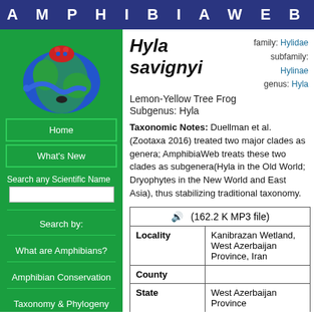A M P H I B I A W E B
[Figure (logo): AmphibiaWeb logo: colorful frogs on a globe]
Home
What's New
Search any Scientific Name
Search by:
What are Amphibians?
Amphibian Conservation
Taxonomy & Phylogeny
Hyla savignyi
family: Hylidae
subfamily: Hylinae
genus: Hyla
Lemon-Yellow Tree Frog
Subgenus: Hyla
Taxonomic Notes: Duellman et al. (Zootaxa 2016) treated two major clades as genera; AmphibiaWeb treats these two clades as subgenera(Hyla in the Old World; Dryophytes in the New World and East Asia), thus stabilizing traditional taxonomy.
| 🔊  (162.2 K MP3 file) |
| Locality | Kanibrazan Wetland, West Azerbaijan Province, Iran |
| County |  |
| State | West Azerbaijan Province |
| Country | Iran |
| Date Recorded |  |